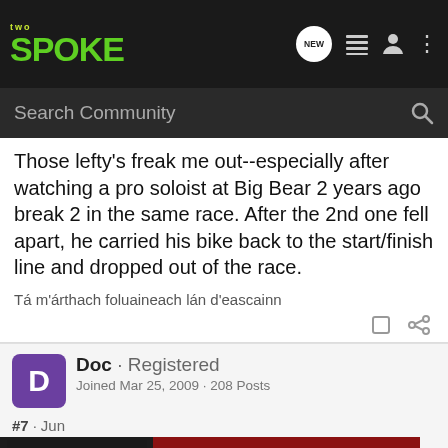two SPOKE
Those lefty's freak me out--especially after watching a pro soloist at Big Bear 2 years ago break 2 in the same race. After the 2nd one fell apart, he carried his bike back to the start/finish line and dropped out of the race.
Tá m'árthach foluaineach lán d'eascainn
Doc · Registered
Joined Mar 25, 2009 · 208 Posts
#7 · Jun
[Figure (screenshot): Advertisement banner: YOUR NEW FAVORITE SPORT - EXPLORE HOW TO RESPONSIBLY PARTICIPATE IN THE SHOOTING SPORTS. START HERE! on red background with photo on left.]